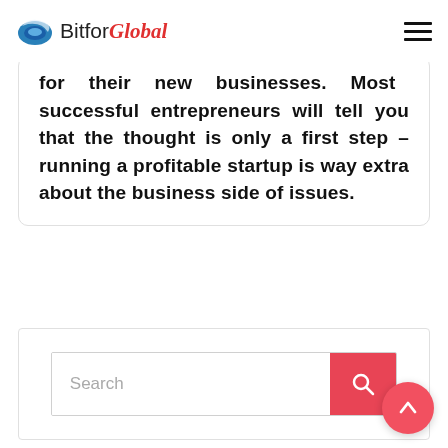BitforGlobal
for their new businesses. Most successful entrepreneurs will tell you that the thought is only a first step – running a profitable startup is way extra about the business side of issues.
Search